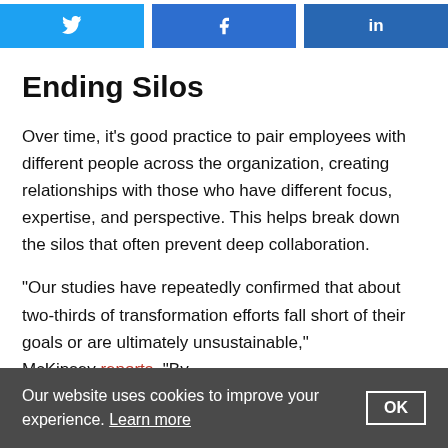[Figure (other): Social share buttons: Twitter, Facebook, LinkedIn]
Ending Silos
Over time, it’s good practice to pair employees with different people across the organization, creating relationships with those who have different focus, expertise, and perspective. This helps break down the silos that often prevent deep collaboration.
“Our studies have repeatedly confirmed that about two-thirds of transformation efforts fall short of their goals or are ultimately unsustainable,” McKinsey reports. “By
Our website uses cookies to improve your experience. Learn more